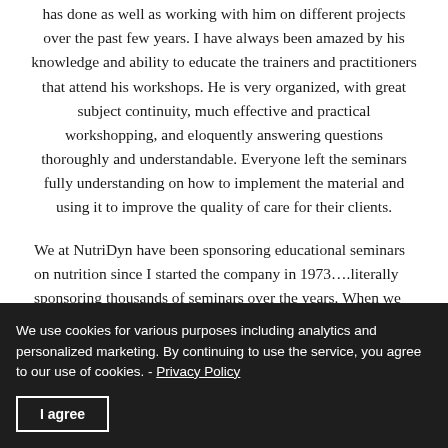has done as well as working with him on different projects over the past few years. I have always been amazed by his knowledge and ability to educate the trainers and practitioners that attend his workshops. He is very organized, with great subject continuity, much effective and practical workshopping, and eloquently answering questions thoroughly and understandable. Everyone left the seminars fully understanding on how to implement the material and using it to improve the quality of care for their clients.
We at NutriDyn have been sponsoring educational seminars on nutrition since I started the company in 1973….literally sponsoring thousands of seminars over the years. When we
We use cookies for various purposes including analytics and personalized marketing. By continuing to use the service, you agree to our use of cookies. - Privacy Policy
I agree